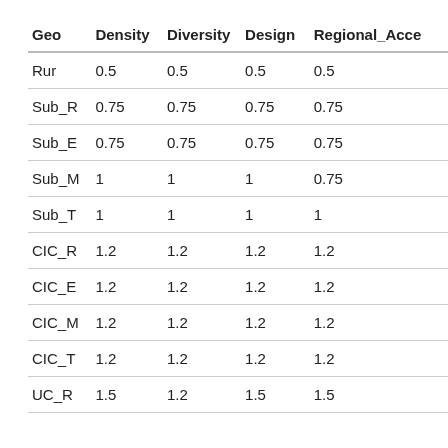| Geo | Density | Diversity | Design | Regional_Access |
| --- | --- | --- | --- | --- |
| Rur | 0.5 | 0.5 | 0.5 | 0.5 |
| Sub_R | 0.75 | 0.75 | 0.75 | 0.75 |
| Sub_E | 0.75 | 0.75 | 0.75 | 0.75 |
| Sub_M | 1 | 1 | 1 | 0.75 |
| Sub_T | 1 | 1 | 1 | 1 |
| CIC_R | 1.2 | 1.2 | 1.2 | 1.2 |
| CIC_E | 1.2 | 1.2 | 1.2 | 1.2 |
| CIC_M | 1.2 | 1.2 | 1.2 | 1.2 |
| CIC_T | 1.2 | 1.2 | 1.2 | 1.2 |
| UC_R | 1.5 | 1.2 | 1.5 | 1.5 |